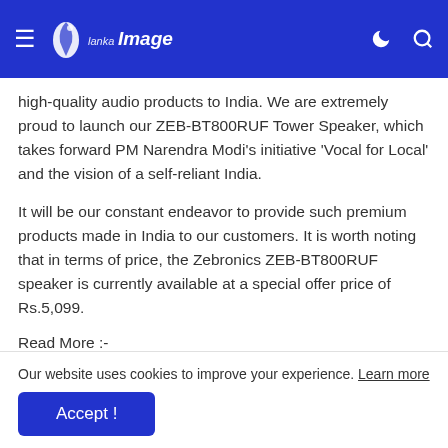Lanka Image
high-quality audio products to India. We are extremely proud to launch our ZEB-BT800RUF Tower Speaker, which takes forward PM Narendra Modi's initiative 'Vocal for Local' and the vision of a self-reliant India.
It will be our constant endeavor to provide such premium products made in India to our customers. It is worth noting that in terms of price, the Zebronics ZEB-BT800RUF speaker is currently available at a special offer price of Rs.5,099.
Read More :-
Our website uses cookies to improve your experience. Learn more
Accept !